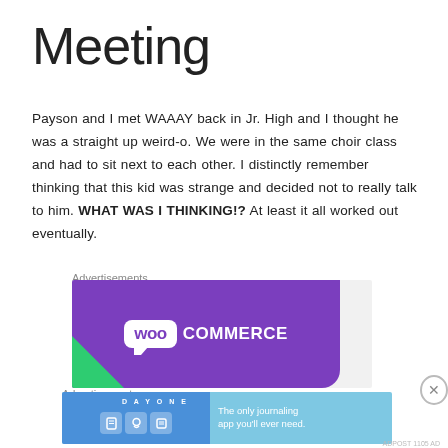Meeting
Payson and I met WAAAY back in Jr. High and I thought he was a straight up weird-o. We were in the same choir class and had to sit next to each other. I distinctly remember thinking that this kid was strange and decided not to really talk to him. WHAT WAS I THINKING!? At least it all worked out eventually.
Advertisements
[Figure (logo): WooCommerce advertisement banner with purple background and white logo]
Advertisements
[Figure (infographic): Day One journaling app advertisement: 'The only journaling app you'll ever need.']